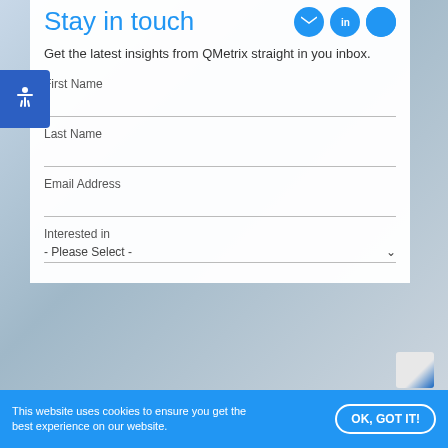Stay in touch
Get the latest insights from QMetrix straight in you inbox.
First Name
Last Name
Email Address
Interested in
- Please Select -
This website uses cookies to ensure you get the best experience on our website.
OK, GOT IT!